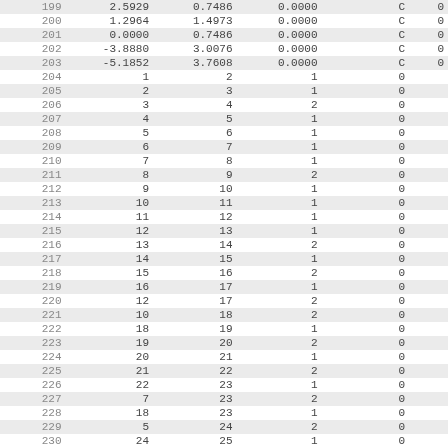| # | col1 | col2 | col3 | col4 | col5 | col6 |
| --- | --- | --- | --- | --- | --- | --- |
| 199 | 2.5929 | 0.7486 | 0.0000 | C | 0 |
| 200 | 1.2964 | 1.4973 | 0.0000 | C | 0 |
| 201 | 0.0000 | 0.7486 | 0.0000 | C | 0 |
| 202 | -3.8880 | 3.0076 | 0.0000 | C | 0 |
| 203 | -5.1852 | 3.7608 | 0.0000 | C | 0 |
| 204 | 1 | 2 | 1 | 0 |  |  |
| 205 | 2 | 3 | 1 | 0 |  |  |
| 206 | 3 | 4 | 2 | 0 |  |  |
| 207 | 4 | 5 | 1 | 0 |  |  |
| 208 | 5 | 6 | 1 | 0 |  |  |
| 209 | 6 | 7 | 1 | 0 |  |  |
| 210 | 7 | 8 | 1 | 0 |  |  |
| 211 | 8 | 9 | 2 | 0 |  |  |
| 212 | 9 | 10 | 1 | 0 |  |  |
| 213 | 10 | 11 | 1 | 0 |  |  |
| 214 | 11 | 12 | 1 | 0 |  |  |
| 215 | 12 | 13 | 1 | 0 |  |  |
| 216 | 13 | 14 | 2 | 0 |  |  |
| 217 | 14 | 15 | 1 | 0 |  |  |
| 218 | 15 | 16 | 2 | 0 |  |  |
| 219 | 16 | 17 | 1 | 0 |  |  |
| 220 | 12 | 17 | 2 | 0 |  |  |
| 221 | 10 | 18 | 2 | 0 |  |  |
| 222 | 18 | 19 | 1 | 0 |  |  |
| 223 | 19 | 20 | 2 | 0 |  |  |
| 224 | 20 | 21 | 1 | 0 |  |  |
| 225 | 21 | 22 | 2 | 0 |  |  |
| 226 | 22 | 23 | 1 | 0 |  |  |
| 227 | 7 | 23 | 2 | 0 |  |  |
| 228 | 18 | 23 | 1 | 0 |  |  |
| 229 | 5 | 24 | 2 | 0 |  |  |
| 230 | 24 | 25 | 1 | 0 |  |  |